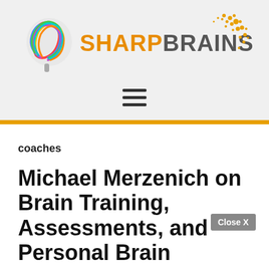[Figure (logo): SharpBrains logo with colorful brain illustration and orange/gray brand name text, plus orange sparkle/star graphic in top right]
coaches
Michael Merzenich on Brain Training, Assessments, and Personal Brain Trainors